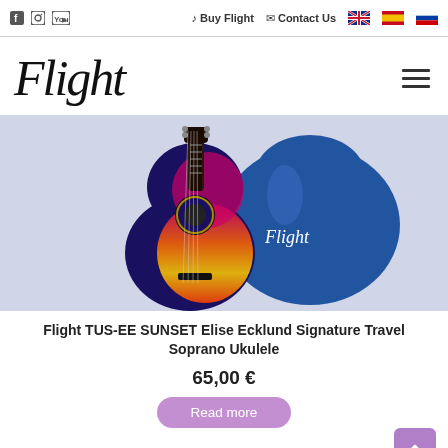f  Instagram  YouTube  Buy Flight  Contact Us  [UK flag] [Spain flag] [Russia flag]
[Figure (logo): Flight brand logo in italic serif font, with hamburger menu icon on the right]
[Figure (photo): Flight TUS-EE SUNSET ukulele with colorful sunset graphic body (blue, pink, orange) leaning against a blue Flight branded gig bag]
Flight TUS-EE SUNSET Elise Ecklund Signature Travel Soprano Ukulele
65,00 €
Read more